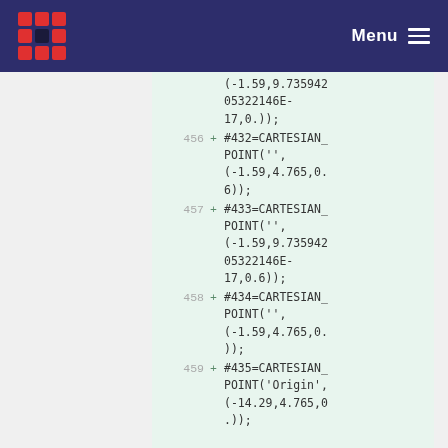Menu
(-1.59,9.73594205322146E-17,0.));
456 + #432=CARTESIAN_POINT('',(-1.59,4.765,0.6));
457 + #433=CARTESIAN_POINT('',(-1.59,9.73594205322146E-17,0.6));
458 + #434=CARTESIAN_POINT('',(-1.59,4.765,0.));
459 + #435=CARTESIAN_POINT('Origin',(-14.29,4.765,0.));